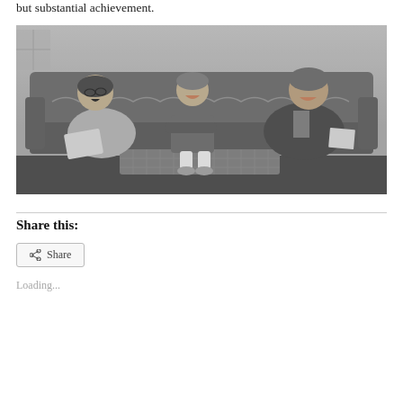but substantial achievement.
[Figure (photo): Black and white photograph of a woman and a man sitting on a sofa with a young boy between them. The woman on the left is laughing and holding a book, the boy in the middle is smiling with arms crossed, and the man on the right is smiling and holding papers. A tiled coffee table is in front of them.]
Share this:
Share
Loading...